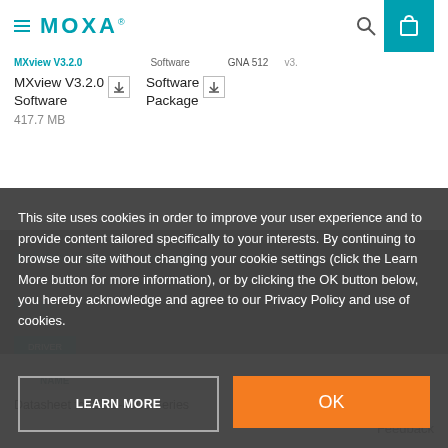MOXA
MXview V3.2.0 Software
417.7 MB
Software Package
This site uses cookies in order to improve your user experience and to provide content tailored specifically to your interests. By continuing to browse our site without changing your cookie settings (click the Learn More button for more information), or by clicking the OK button below, you hereby acknowledge and agree to our Privacy Policy and use of cookies.
LEARN MORE
OK
Datasheet for EDS-4008 Series
Feedback